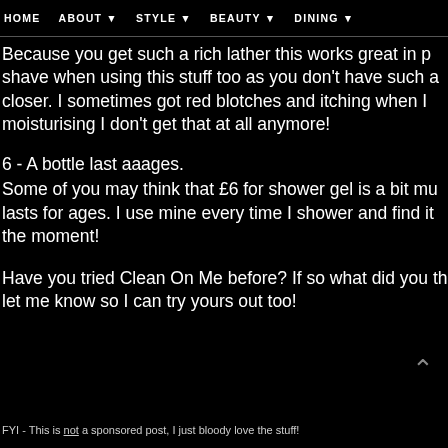HOME   ABOUT ▾   STYLE ▾   BEAUTY ▾   DINING ▾
Because you get such a rich lather this works great in p shave when using this stuff too as you don't have such a closer. I sometimes got red blotches and itching when I moisturising I don't get that at all anymore!
6 - A bottle last aaages.
Some of you may think that £6 for shower gel is a bit mu lasts for ages. I use mine every time I shower and find it the moment!
Have you tried Clean On Me before? If so what did you th let me know so I can try yours out too!
FYI - This is not a sponsored post, I just bloody love the stuff!